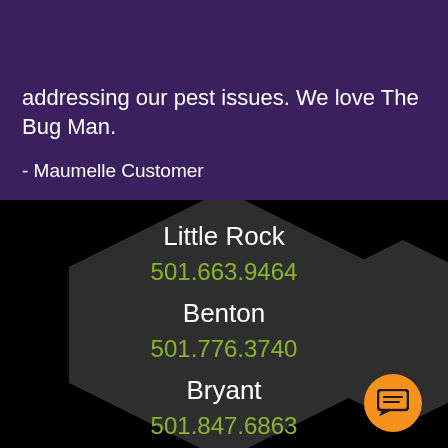addressing our pest issues. We love The Bug Man.
- Maumelle Customer
Little Rock
501.663.9464
Benton
501.776.3740
Bryant
501.847.6863